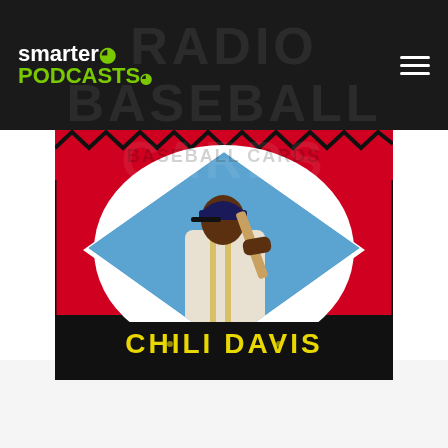smarter PODCASTS
[Figure (photo): Baseball card featuring Chili Davis. Red card with diamond-shaped player portrait showing Chili Davis in a baseball uniform holding a bat. Player name 'CHILI DAVIS' displayed at the bottom in yellow block letters on a dark background. Card background text reads 'BASEBALL CARDS' in dark letters.]
Chili Davis' MLB All-Star Memories